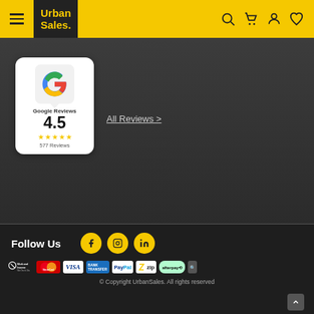Urban Sales.
[Figure (other): Google Reviews widget showing 4.5 stars, 577 reviews]
All Reviews >
Follow Us
[Figure (infographic): Social media icons: Facebook, Instagram, LinkedIn]
[Figure (infographic): Payment method logos: Work and Income, Mastercard, Visa, Bank Transfer, PayPal, Zip, Afterpay, and others]
© Copyright UrbanSales. All rights reserved